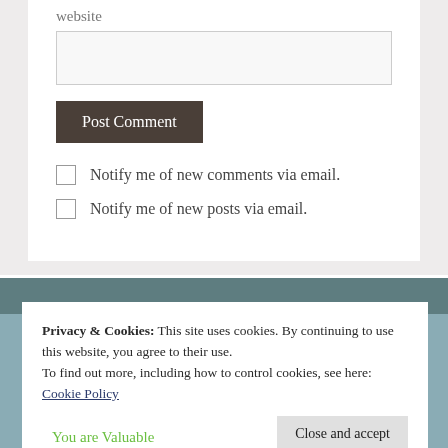website
Post Comment
Notify me of new comments via email.
Notify me of new posts via email.
Privacy & Cookies: This site uses cookies. By continuing to use this website, you agree to their use.
To find out more, including how to control cookies, see here: Cookie Policy
Close and accept
You are Valuable